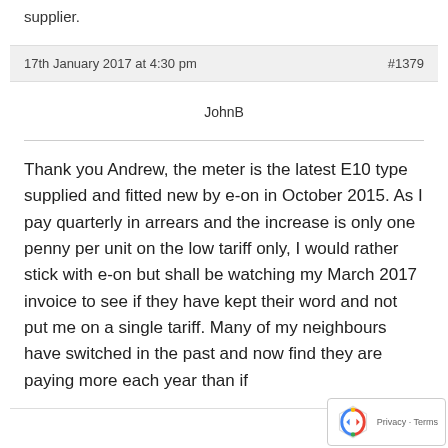supplier.
17th January 2017 at 4:30 pm   #1379
JohnB
Thank you Andrew, the meter is the latest E10 type supplied and fitted new by e-on in October 2015. As I pay quarterly in arrears and the increase is only one penny per unit on the low tariff only, I would rather stick with e-on but shall be watching my March 2017 invoice to see if they have kept their word and not put me on a single tariff. Many of my neighbours have switched in the past and now find they are paying more each year than if